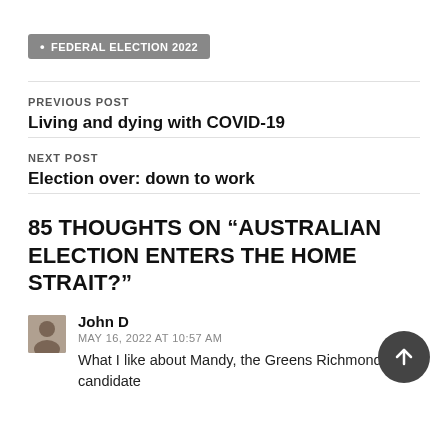FEDERAL ELECTION 2022
PREVIOUS POST
Living and dying with COVID-19
NEXT POST
Election over: down to work
85 THOUGHTS ON “AUSTRALIAN ELECTION ENTERS THE HOME STRAIT?”
John D
MAY 16, 2022 AT 10:57 AM
What I like about Mandy, the Greens Richmond candidate